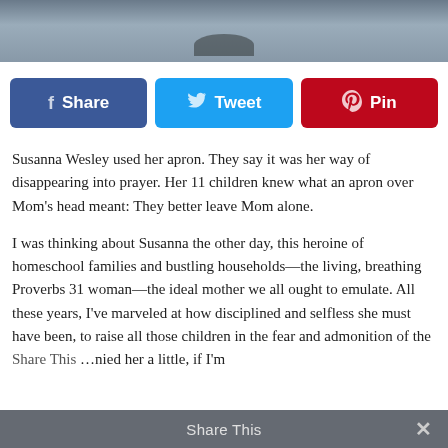[Figure (photo): Partial photo at top of page showing water/sky landscape with dark silhouette]
[Figure (infographic): Social sharing buttons: Facebook Share (blue), Twitter Tweet (light blue), Pinterest Pin (red)]
Susanna Wesley used her apron. They say it was her way of disappearing into prayer. Her 11 children knew what an apron over Mom’s head meant: They better leave Mom alone.
I was thinking about Susanna the other day, this heroine of homeschool families and bustling households—the living, breathing Proverbs 31 woman—the ideal mother we all ought to emulate. All these years, I’ve marveled at how disciplined and selfless she must have been, to raise all those children in the fear and admonition of the… envied her a little, if I’m
Share This ×